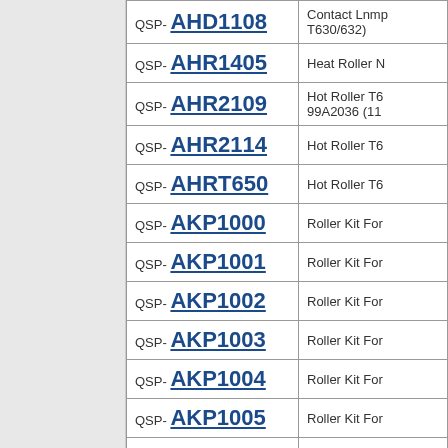| Part Number | Description |
| --- | --- |
| QSP- AHD1108 | Contact Lnmp T630/632) |
| QSP- AHR1405 | Heat Roller N |
| QSP- AHR2109 | Hot Roller T6 99A2036 (11 |
| QSP- AHR2114 | Hot Roller T6 |
| QSP- AHRT650 | Hot Roller T6 |
| QSP- AKP1000 | Roller Kit For |
| QSP- AKP1001 | Roller Kit For |
| QSP- AKP1002 | Roller Kit For |
| QSP- AKP1003 | Roller Kit For |
| QSP- AKP1004 | Roller Kit For |
| QSP- AKP1005 | Roller Kit For |
| QSP- AKP1007 | Roller Kit For |
| QSP- AKP1102 | Roller Kit For |